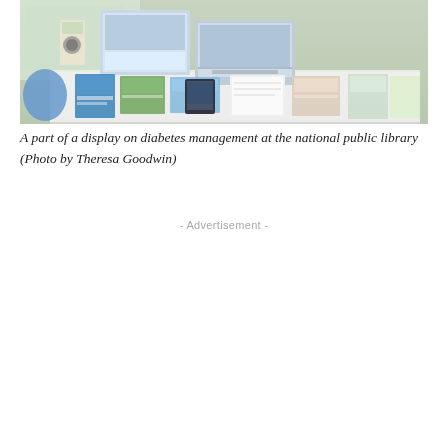[Figure (photo): A display table at a national public library showing diabetes management materials, brochures, pamphlets, digital devices, and informational leaflets spread across a white-clothed table. A blue balloon is visible in the lower left. Various colorful pamphlets and screens with health information are visible.]
A part of a display on diabetes management at the national public library (Photo by Theresa Goodwin)
- Advertisement -